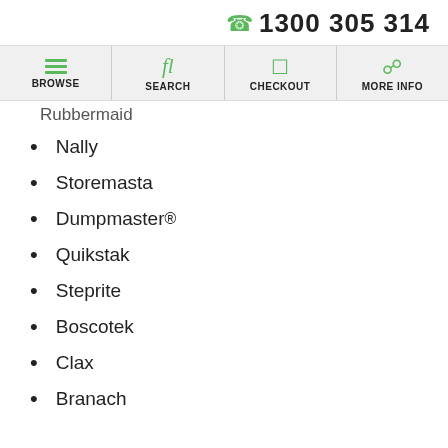📞 1300 305 314
BROWSE | SEARCH | CHECKOUT | MORE INFO
Rubbermaid
Nally
Storemasta
Dumpmaster®
Quikstak
Steprite
Boscotek
Clax
Branach